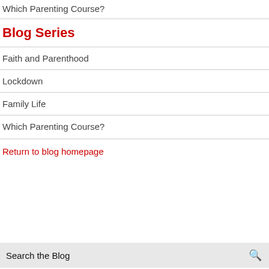Which Parenting Course?
Blog Series
Faith and Parenthood
Lockdown
Family Life
Which Parenting Course?
Return to blog homepage
Search the Blog